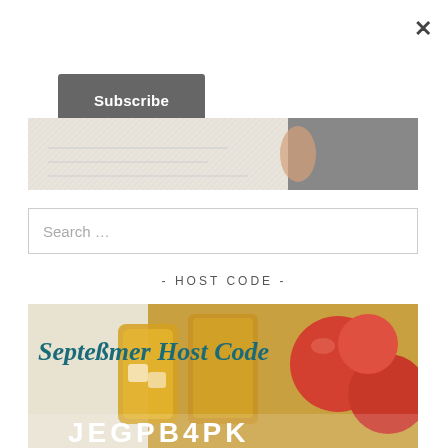×
Subscribe
[Figure (photo): Partial image at top showing hands and textured background]
Search …
- HOST CODE -
[Figure (photo): September Host Code image with apple cider drinks and red apples; teal script text reads 'September Host Code'; white bold code text at bottom reads 'JEGPB4PK']